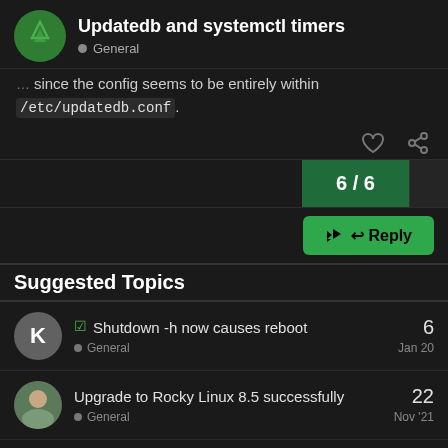Updatedb and systemctl timers
General
since the config seems to be entirely within /etc/updatedb.conf.
6 / 6
Reply
Suggested Topics
Shutdown -h now causes reboot · General · Jan 20 · 6
Upgrade to Rocky Linux 8.5 successfully · General · Nov '21 · 22
ISO for Rocky + KDE · 15